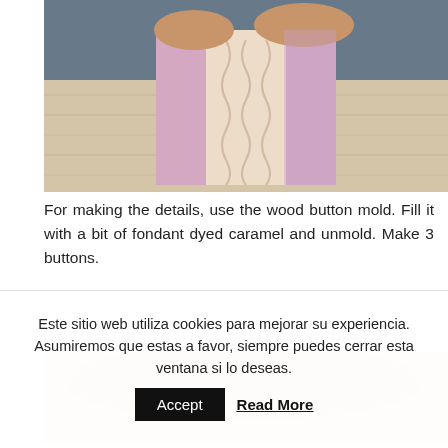[Figure (photo): Hands wrapping a pink knitted textile around a rectangular box on a wooden surface]
For making the details, use the wood button mold. Fill it with a bit of fondant dyed caramel and unmold. Make 3 buttons.
[Figure (photo): Close-up of hands working with fondant on a wooden surface]
Este sitio web utiliza cookies para mejorar su experiencia. Asumiremos que estas a favor, siempre puedes cerrar esta ventana si lo deseas.